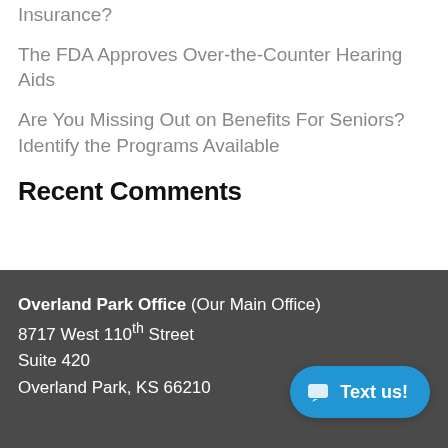Insurance?
The FDA Approves Over-the-Counter Hearing Aids
Are You Missing Out on Benefits For Seniors? Identify the Programs Available
Recent Comments
Overland Park Office (Our Main Office)
8717 West 110th Street
Suite 420
Overland Park, KS 66210